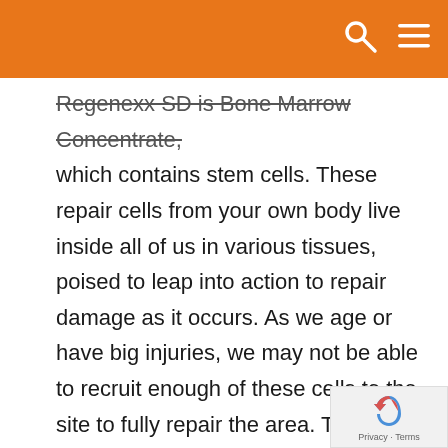Regenexx SD is Bone Marrow Concentrate, which contains stem cells. These repair cells from your own body live inside all of us in various tissues, poised to leap into action to repair damage as it occurs. As we age or have big injuries, we may not be able to recruit enough of these cells to the site to fully repair the area. The Regenexx-SD Procedure helps overcome this problem by harvesting Bone Marrow from an area of the back of the hip that contains a dense population of these important cells and then concentrating those cells before precisely